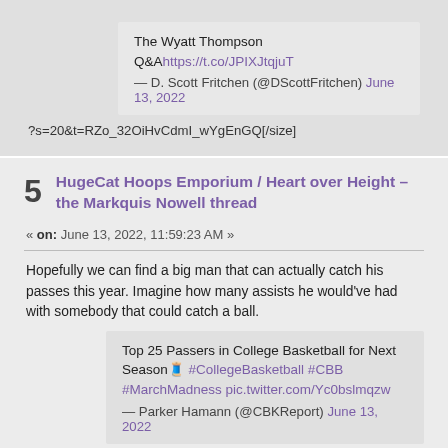The Wyatt Thompson Q&A https://t.co/JPIXJtqjuT — D. Scott Fritchen (@DScottFritchen) June 13, 2022
?s=20&t=RZo_32OiHvCdmI_wYgEnGQ[/size]
5 HugeCat Hoops Emporium / Heart over Height – the Markquis Nowell thread
« on: June 13, 2022, 11:59:23 AM »
Hopefully we can find a big man that can actually catch his passes this year. Imagine how many assists he would've had with somebody that could catch a ball.
Top 25 Passers in College Basketball for Next Season🧵 #CollegeBasketball #CBB #MarchMadness pic.twitter.com/Yc0bslmqzw — Parker Hamann (@CBKReport) June 13, 2022
?s=20&t=XfZoGVcw9Dmu0P9dXYlelw[/size]